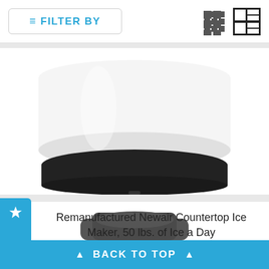FILTER BY
[Figure (photo): Bottom portion of a Newair Countertop Ice Maker appliance — white cylindrical body with black base]
Remanufactured Newair Countertop Ice Maker, 50 lbs. of Ice a Day
$259.95  $193.95  Out of Stock
[Figure (other): 2 out of 5 star rating — two filled orange stars and three empty gray stars]
[Figure (photo): Top portion of a dark gray/charcoal countertop appliance partially visible at bottom of page]
▲ BACK TO TOP ▲